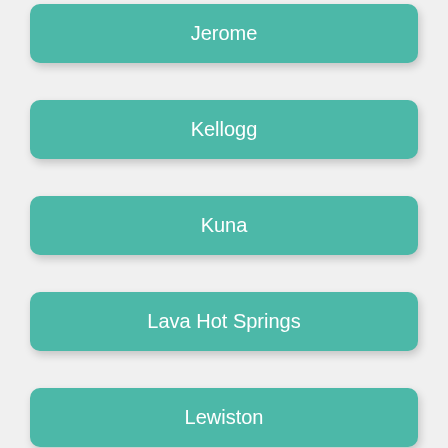Jerome
Kellogg
Kuna
Lava Hot Springs
Lewiston
Mackay
Malad City
McCall
Meridian